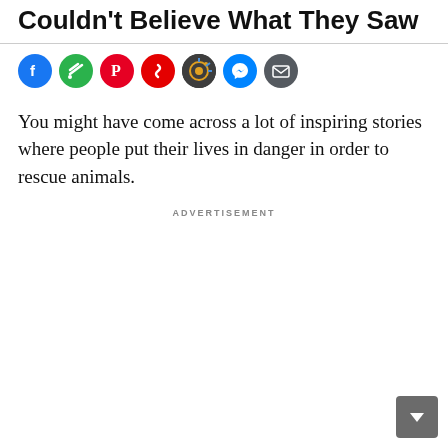Couldn't Believe What They Saw
[Figure (other): Social media share icons: Facebook (blue), Feedly (green), Pinterest (red), News (red/white), Instagram-style (dark with multicolor), Messenger (blue), Email (dark gray)]
You might have come across a lot of inspiring stories where people put their lives in danger in order to rescue animals.
ADVERTISEMENT